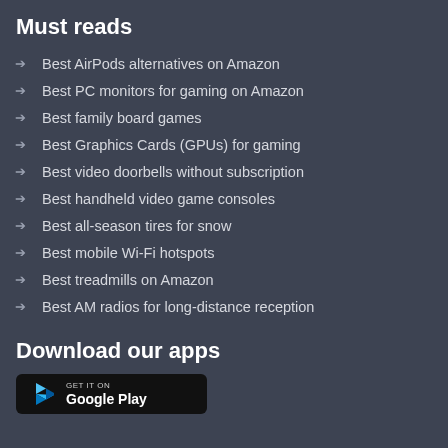Must reads
Best AirPods alternatives on Amazon
Best PC monitors for gaming on Amazon
Best family board games
Best Graphics Cards (GPUs) for gaming
Best video doorbells without subscription
Best handheld video game consoles
Best all-season tires for snow
Best mobile Wi-Fi hotspots
Best treadmills on Amazon
Best AM radios for long-distance reception
Download our apps
[Figure (other): Google Play Store download button with GET IT ON text and Play triangle logo]